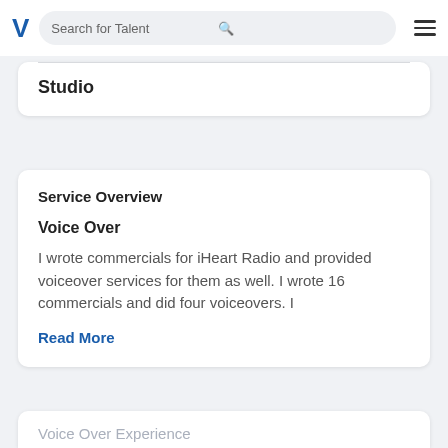[Figure (screenshot): Navigation bar with a blue V logo, search bar labelled 'Search for Talent', search icon, and hamburger menu icon]
Studio
Service Overview
Voice Over
I wrote commercials for iHeart Radio and provided voiceover services for them as well. I wrote 16 commercials and did four voiceovers. I
Read More
Voice Over Experience